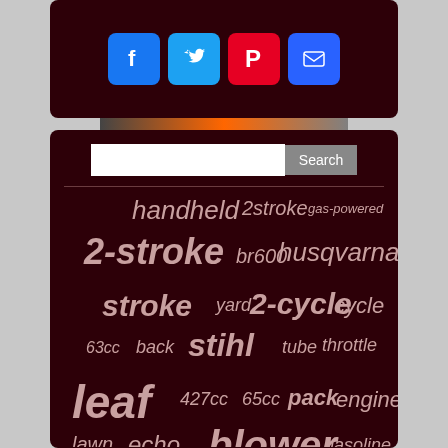[Figure (infographic): Dark maroon top panel with social media share buttons: Facebook (blue), Twitter (blue), Pinterest (red), Email (blue)]
[Figure (infographic): Word cloud on dark maroon background with leaf blower related terms: handheld, 2stroke, gas-powered, 2-stroke, br600, husqvarna, stroke, yard, 2-cycle, cycle, 63cc, back, stihl, tube, throttle, leaf, 427cc, 65cc, pack, engine, lawn, echo, blower, gasoline, speed, backpack]
handheld 2stroke gas-powered 2-stroke br600 husqvarna stroke yard 2-cycle cycle 63cc back stihl tube throttle leaf 427cc 65cc pack engine lawn echo blower gasoline speed backpack